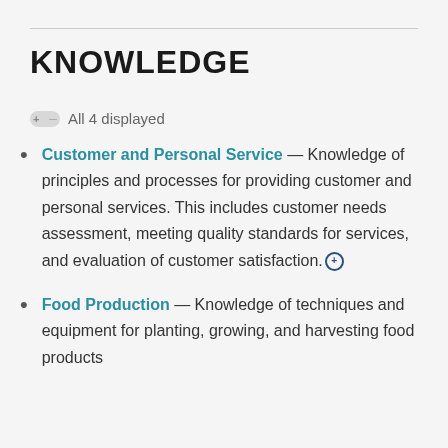KNOWLEDGE
All 4 displayed
Customer and Personal Service — Knowledge of principles and processes for providing customer and personal services. This includes customer needs assessment, meeting quality standards for services, and evaluation of customer satisfaction.
Food Production — Knowledge of techniques and equipment for planting, growing, and harvesting food products